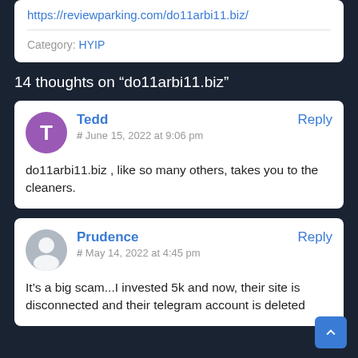https://reviewparking.com/dollarbill.biz/
Category: HYIP
14 thoughts on “do11arbi11.biz”
Tedd
# June 15, 2022 at 9:06 pm
do11arbi11.biz , like so many others, takes you to the cleaners.
Prudence
# May 14, 2022 at 4:45 pm
It’s a big scam...I invested 5k and now, their site is disconnected and their telegram account is deleted